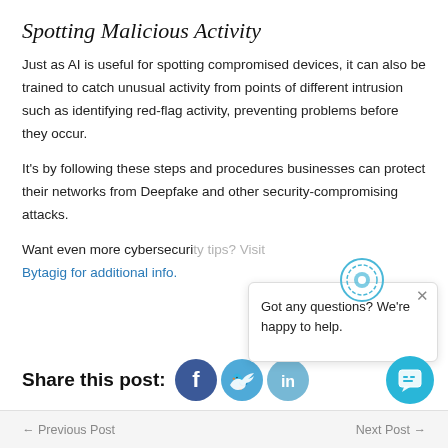Spotting Malicious Activity
Just as AI is useful for spotting compromised devices, it can also be trained to catch unusual activity from points of different intrusion such as identifying red-flag activity, preventing problems before they occur.
It's by following these steps and procedures businesses can protect their networks from Deepfake and other security-compromising attacks.
Want even more cybersecuri[ty tips? Visit] Bytagig for additional info.
Share this post:
[Figure (other): Chat popup overlay with circular blue icon and close button, text: Got any questions? We're happy to help.]
← Previous Post    Next Post →